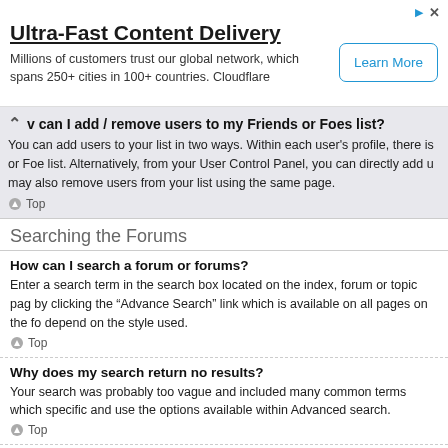[Figure (other): Advertisement banner for Cloudflare Ultra-Fast Content Delivery with Learn More button]
ow can I add / remove users to my Friends or Foes list?
You can add users to your list in two ways. Within each user's profile, there is or Foe list. Alternatively, from your User Control Panel, you can directly add us may also remove users from your list using the same page.
Top
Searching the Forums
How can I search a forum or forums?
Enter a search term in the search box located on the index, forum or topic pag by clicking the “Advance Search” link which is available on all pages on the fo depend on the style used.
Top
Why does my search return no results?
Your search was probably too vague and included many common terms which specific and use the options available within Advanced search.
Top
Why does my search return a blank page!?